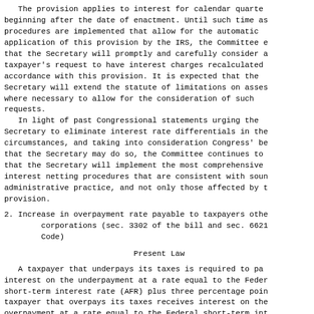The provision applies to interest for calendar quarters beginning after the date of enactment. Until such time as procedures are implemented that allow for the automatic application of this provision by the IRS, the Committee expects that the Secretary will promptly and carefully consider a taxpayer's request to have interest charges recalculated in accordance with this provision. It is expected that the Secretary will extend the statute of limitations on assessments where necessary to allow for the consideration of such requests.
In light of past Congressional statements urging the Secretary to eliminate interest rate differentials in these circumstances, and taking into consideration Congress' belief that the Secretary may do so, the Committee continues to expect that the Secretary will implement the most comprehensive interest netting procedures that are consistent with sound administrative practice, and not only those affected by this provision.
2. Increase in overpayment rate payable to taxpayers other than corporations (sec. 3302 of the bill and sec. 6621 of the Code)
Present Law
A taxpayer that underpays its taxes is required to pay interest on the underpayment at a rate equal to the Federal short-term interest rate (AFR) plus three percentage points. A taxpayer that overpays its taxes receives interest on the overpayment at a rate equal to the Federal short-term interest rate (AFR) plus two percentage points.